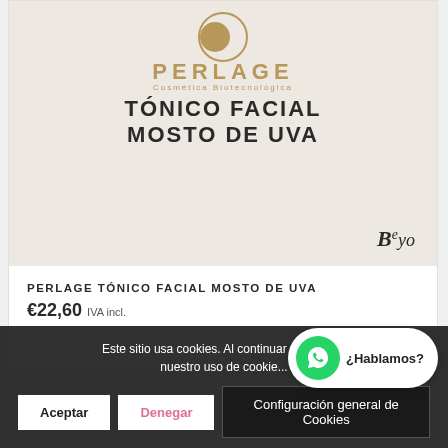[Figure (photo): Perlage Tónico Facial Mosto de Uva product packaging on a beige/tan background. Shows the Perlage Cosmética Biotecnológica logo at top with a crescent-moon circle mark in gold, product name 'TÓNICO FACIAL MOSTO DE UVA' in bold dark letters, and 'Beyo' brand mark at bottom right.]
PERLAGE TÓNICO FACIAL MOSTO DE UVA
€22,60 IVA incl.
Este sitio usa cookies. Al continuar navegando nuestro uso de cookies
Aceptar
Denegar
Configuración general de Cookies
¿Hablamos?